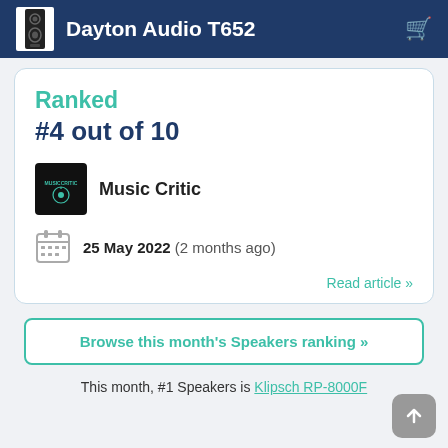Dayton Audio T652
Ranked
#4 out of 10
Music Critic
25 May 2022 (2 months ago)
Read article »
Browse this month's Speakers ranking »
This month, #1 Speakers is Klipsch RP-8000F